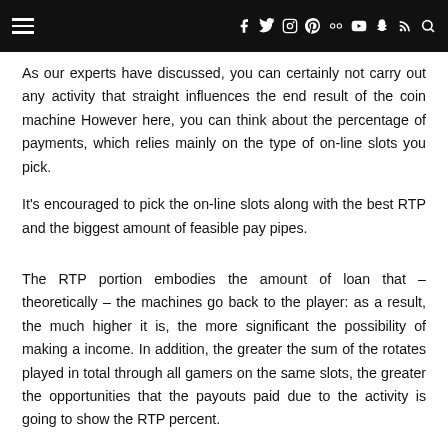Navigation header with hamburger menu and social icons
As our experts have discussed, you can certainly not carry out any activity that straight influences the end result of the coin machine However here, you can think about the percentage of payments, which relies mainly on the type of on-line slots you pick.
It's encouraged to pick the on-line slots along with the best RTP and the biggest amount of feasible pay pipes.
The RTP portion embodies the amount of loan that – theoretically – the machines go back to the player: as a result, the much higher it is, the more significant the possibility of making a income. In addition, the greater the sum of the rotates played in total through all gamers on the same slots, the greater the opportunities that the payouts paid due to the activity is going to show the RTP percent.